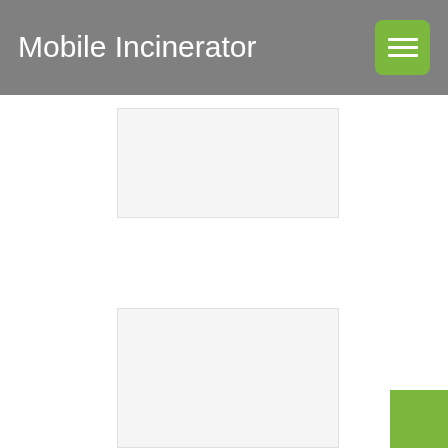Mobile Incinerator
[Figure (screenshot): Gray placeholder image box, top content area]
[Figure (screenshot): Gray placeholder image box, bottom content area]